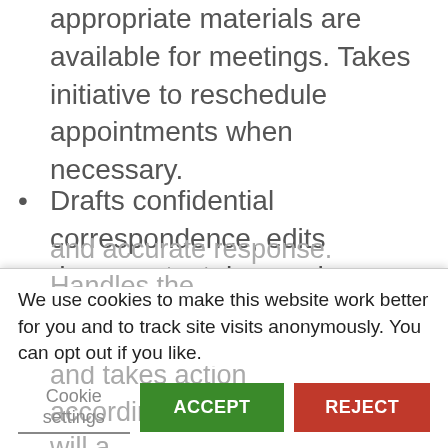appropriate materials are available for meetings. Takes initiative to reschedule appointments when necessary.
Drafts confidential correspondence, edits documents, takes and transcribes minutes of meetings, and performs other administrative and secretarial duties. Routes and answers routine correspondence not requiring executive's attention to ensure timely and accurate response. Handles the ... and takes action accordingly ... will a... handling his email traffic.
We use cookies to make this website work better for you and to track site visits anonymously. You can opt out if you like.